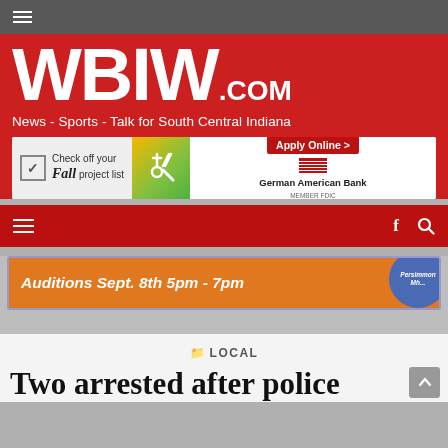≡
WBIW.COM
News - Sports - Talk for South Central Indiana
[Figure (screenshot): German American Bank advertisement: Check off your Fall project list, Apply Online >, German American Bank MEMBER FDIC]
≡  f  🔍
[Figure (screenshot): Auditions Sept. 8th 5pm - 7pm advertisement banner with Persimmon logo]
LOCAL
Two arrested after police